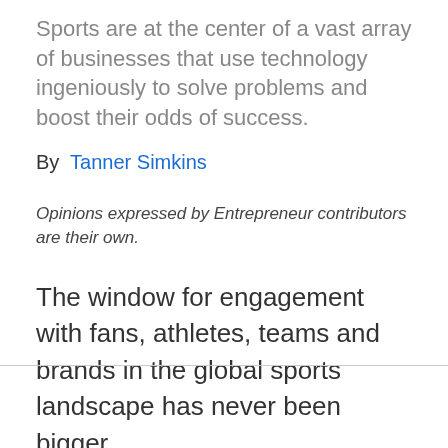Sports are at the center of a vast array of businesses that use technology ingeniously to solve problems and boost their odds of success.
By  Tanner Simkins
Opinions expressed by Entrepreneur contributors are their own.
The window for engagement with fans, athletes, teams and brands in the global sports landscape has never been bigger.